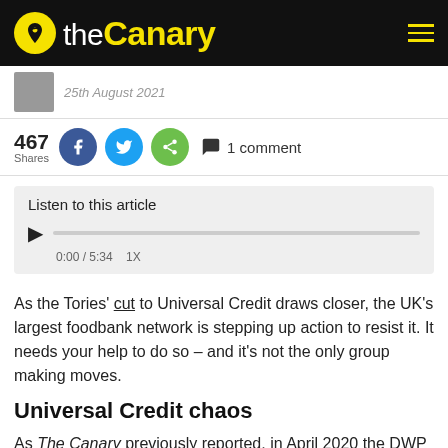the Canary
[Figure (screenshot): Author thumbnail image]
25th August 2021
467 Shares
[Figure (infographic): Social share buttons: Facebook, Twitter, share, and 1 comment]
[Figure (other): Audio player: Listen to this article, 0:00 / 5:34, 1X speed]
As the Tories' cut to Universal Credit draws closer, the UK's largest foodbank network is stepping up action to resist it. It needs your help to do so – and it's not the only group making moves.
Universal Credit chaos
As The Canary previously reported, in April 2020 the DWP increased Universal Credit by £20 a week in response to the coronavirus (Covid-19) pandemic. But chancellor Rishi Sunak and the DWP have only put the increase in place until